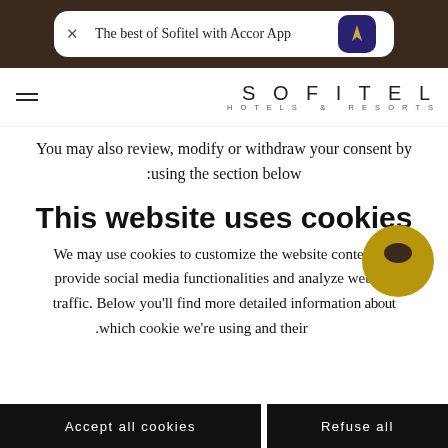[Figure (screenshot): Dark brown top bar with white rounded rectangle app banner containing X close button, text 'The best of Sofitel with Accor App', and dark blue Accor app icon with gold A logo]
SOFITEL HOTELS & RESORTS
You may also review, modify or withdraw your consent by using the section below
This website uses cookies
We may use cookies to customize the website content, to provide social media functionalities and analyze website traffic. Below you'll find more detailed information about which cookie we're using and their...
Accept all cookies   Refuse all